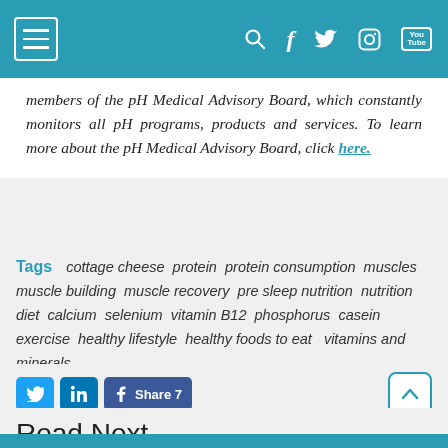Navigation bar with hamburger menu, search, Facebook, Twitter, Instagram, YouTube icons
members of the pH Medical Advisory Board, which constantly monitors all pH programs, products and services. To learn more about the pH Medical Advisory Board, click here.
Tags   cottage cheese  protein  protein consumption  muscles  muscle building  muscle recovery  pre sleep nutrition  nutrition  diet  calcium  selenium  vitamin B12  phosphorus  casein  exercise  healthy lifestyle  healthy foods to eat   vitamins and minerals
Twitter share, LinkedIn share, Facebook Share 7 buttons
Read Next